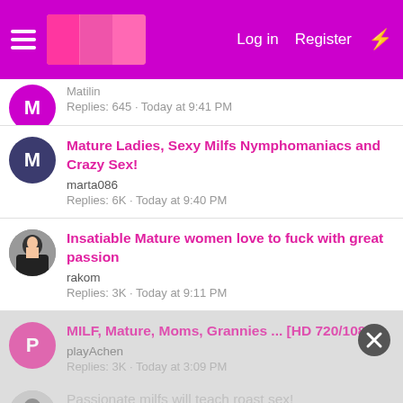Log in  Register
Matilin · Replies: 645 · Today at 9:41 PM
Mature Ladies, Sexy Milfs Nymphomaniacs and Crazy Sex! · marta086 · Replies: 6K · Today at 9:40 PM
Insatiable Mature women love to fuck with great passion · rakom · Replies: 3K · Today at 9:11 PM
MILF, Mature, Moms, Grannies ... [HD 720/1080] · playAchen · Replies: 3K · Today at 3:09 PM
Passionate milfs will teach roast sex! · FukyiTiku